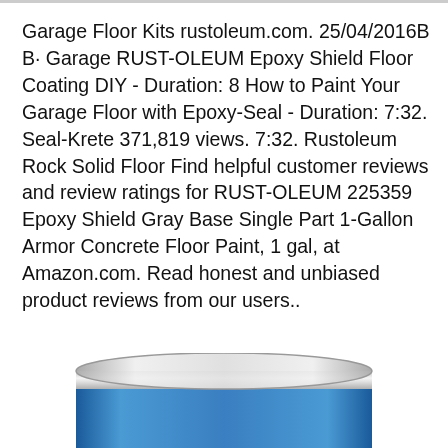Garage Floor Kits rustoleum.com. 25/04/2016B B· Garage RUST-OLEUM Epoxy Shield Floor Coating DIY - Duration: 8 How to Paint Your Garage Floor with Epoxy-Seal - Duration: 7:32. Seal-Krete 371,819 views. 7:32. Rustoleum Rock Solid Floor Find helpful customer reviews and review ratings for RUST-OLEUM 225359 Epoxy Shield Gray Base Single Part 1-Gallon Armor Concrete Floor Paint, 1 gal, at Amazon.com. Read honest and unbiased product reviews from our users..
[Figure (photo): Bottom portion of a paint can with a blue label, cropped at the bottom of the page]